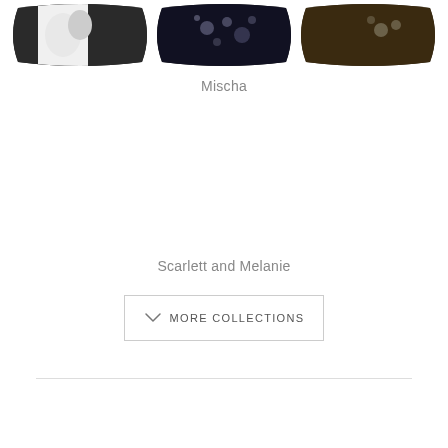[Figure (photo): Three decorative pillows arranged in a row at the top of the page — a black and white pillow on the left, a dark pillow with bokeh lights in the center, and a dark patterned pillow on the right.]
Mischa
Scarlett and Melanie
MORE COLLECTIONS